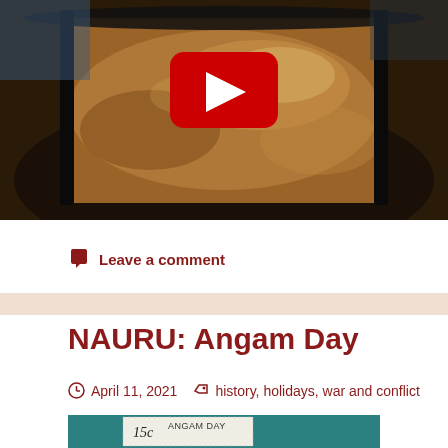[Figure (photo): YouTube video thumbnail showing a large pan with brown baked food, with a red YouTube play button overlay in the center]
Leave a comment
NAURU: Angam Day
April 11, 2021    history, holidays, war and conflict
[Figure (photo): Partial view of a postage stamp showing '15c' and 'ANGAM DAY' text on a teal/green background]